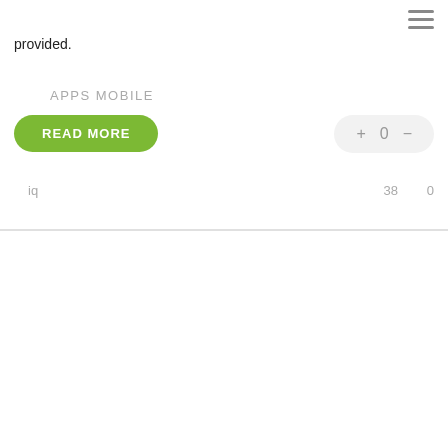provided.
APPS MOBILE
READ MORE
+ 0 −
iq   38   0
Qearner v2.0.1 – Android Quiz game with Earning System + Admin panel - nulled
20/06/2022 20:36
[Figure (screenshot): Envato Market promotional banner showing Android app screenshots with SALE text on sides and Facebook Ads badge]